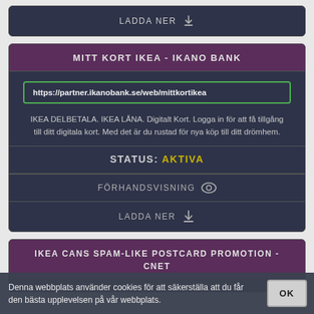LADDA NER
MITT KORT IKEA - IKANO BANK
https://partner.ikanobank.se/web/mittkortikea
IKEA DELBETALA. IKEA LÅNA. Digitalt Kort. Logga in för att få tillgång till ditt digitala kort. Med det är du rustad för nya köp till ditt drömhem.
STATUS: AKTIVA
FÖRHANDSVISNING
LADDA NER
IKEA CANS SPAM-LIKE POSTCARD PROMOTION - CNET
Denna webbplats använder cookies för att säkerställa att du får den bästa upplevelsen på vår webbplats.